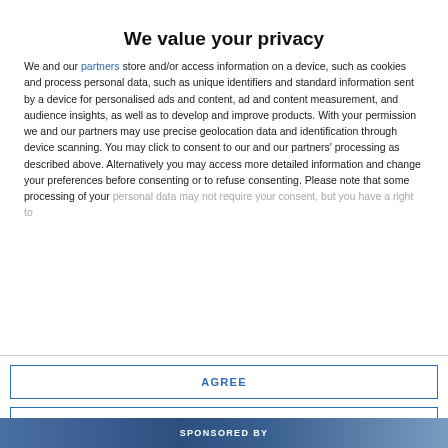We value your privacy
We and our partners store and/or access information on a device, such as cookies and process personal data, such as unique identifiers and standard information sent by a device for personalised ads and content, ad and content measurement, and audience insights, as well as to develop and improve products. With your permission we and our partners may use precise geolocation data and identification through device scanning. You may click to consent to our and our partners' processing as described above. Alternatively you may access more detailed information and change your preferences before consenting or to refuse consenting. Please note that some processing of your personal data may not require your consent, but you have a right to
AGREE
MORE OPTIONS
SPONSORED BY